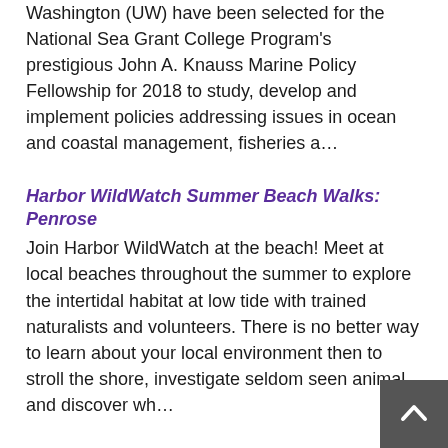Washington (UW) have been selected for the National Sea Grant College Program's prestigious John A. Knauss Marine Policy Fellowship for 2018 to study, develop and implement policies addressing issues in ocean and coastal management, fisheries a…
Harbor WildWatch Summer Beach Walks: Penrose
Join Harbor WildWatch at the beach! Meet at local beaches throughout the summer to explore the intertidal habitat at low tide with trained naturalists and volunteers. There is no better way to learn about your local environment then to stroll the shore, investigate seldom seen animal and discover wh…
C-CAN Ocean Acidification Roundtable Discussion
A state-level policy, management and science approach to build support to address ocean acidification: lessons learned after 5+ years of stakeholder collaboration in Washington state. Presented by Martha Kongsgaard, Chair of the Marine Resources Advisory Council; Bill Dewey, Taylor Shellfish; Kir…
Celebrating 50 Years of Brokering Lane Agreements Between…